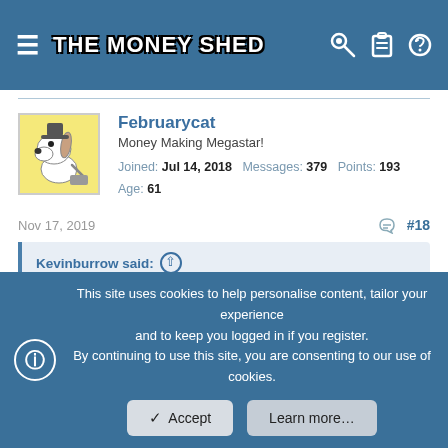THE MONEY SHED
Februarycat
Money Making Megastar!
Joined: Jul 14, 2018  Messages: 379  Points: 193
Age: 61
Nov 17, 2019  #18
Kevinburrow said:
Works on my oldish android.
This site uses cookies to help personalise content, tailor your experience and to keep you logged in if you register.
By continuing to use this site, you are consenting to our use of cookies.